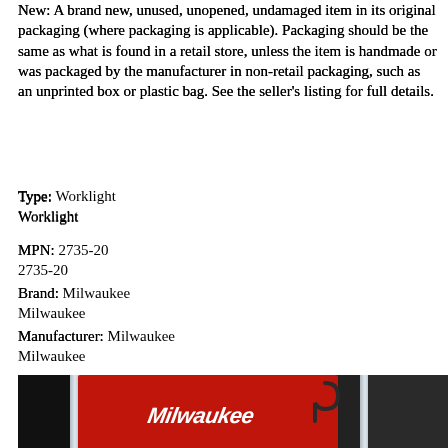New: A brand new, unused, unopened, undamaged item in its original packaging (where packaging is applicable). Packaging should be the same as what is found in a retail store, unless the item is handmade or was packaged by the manufacturer in non-retail packaging, such as an unprinted box or plastic bag. See the seller's listing for full details.
Type:
Worklight
MPN:
2735-20
Brand:
Milwaukee
Manufacturer:
Milwaukee
Model Number:
2735-20
Model:
2735-20
UPC:
045242199143
[Figure (photo): Photo of Milwaukee worklight product in retail packaging with red and black packaging showing Milwaukee brand logo]